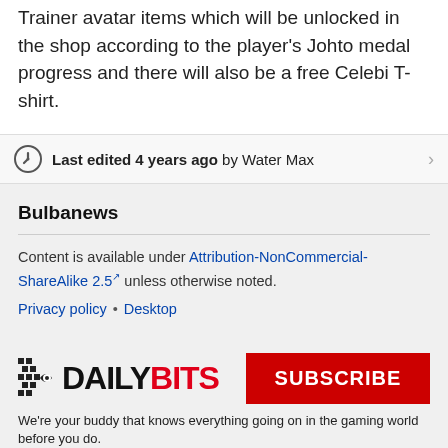Trainer avatar items which will be unlocked in the shop according to the player's Johto medal progress and there will also be a free Celebi T-shirt.
Last edited 4 years ago by Water Max
Bulbanews
Content is available under Attribution-NonCommercial-ShareAlike 2.5 unless otherwise noted.
Privacy policy • Desktop
[Figure (logo): DailyBits logo with pixelated icon, DAILY in black and BITS in red, with a red SUBSCRIBE button]
We're your buddy that knows everything going on in the gaming world before you do.
Don't pick up your controller without us.